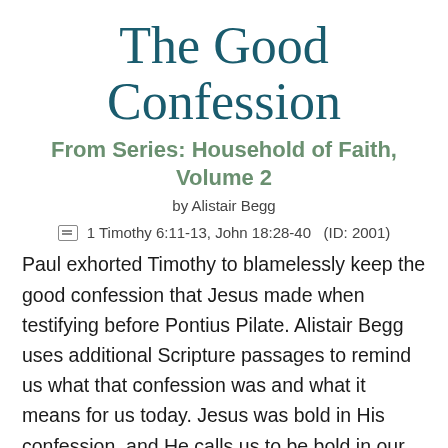The Good Confession
From Series: Household of Faith, Volume 2
by Alistair Begg
1 Timothy 6:11-13, John 18:28-40   (ID: 2001)
Paul exhorted Timothy to blamelessly keep the good confession that Jesus made when testifying before Pontius Pilate. Alistair Begg uses additional Scripture passages to remind us what that confession was and what it means for us today. Jesus was bold in His confession, and He calls us to be bold in our commitment to Him because